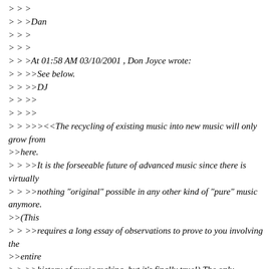>>>
>>>Dan
>>>
>>>
>>>At 01:58 AM 03/10/2001 , Don Joyce wrote:
>>>>See below.
>>>>DJ
>>>>
>>>>
>>>>><<The recycling of existing music into new music will only grow from
>>here.
>>>>>It is the forseeable future of advanced music since there is virtually
>>>>>nothing "original" possible in any other kind of "pure" music anymore.
>>(This
>>>>>requires a long essay of observations to prove to you involving the
>>entire
>>>>>history of music making, but it's finally true!) The only interesting
>>>>>future left to music, the only relatively unexplored direction for
>>sonics,